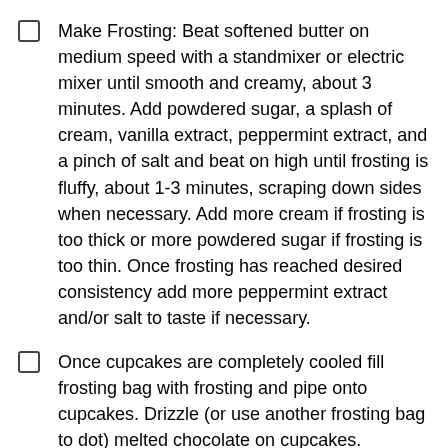Make Frosting: Beat softened butter on medium speed with a standmixer or electric mixer until smooth and creamy, about 3 minutes. Add powdered sugar, a splash of cream, vanilla extract, peppermint extract, and a pinch of salt and beat on high until frosting is fluffy, about 1-3 minutes, scraping down sides when necessary. Add more cream if frosting is too thick or more powdered sugar if frosting is too thin. Once frosting has reached desired consistency add more peppermint extract and/or salt to taste if necessary.
Once cupcakes are completely cooled fill frosting bag with frosting and pipe onto cupcakes. Drizzle (or use another frosting bag to dot) melted chocolate on cupcakes. Sprinkle with crushed candy canes and serve!
Recipe Notes
*if using unsalted butter, add 1/4 tsp more salt to taste